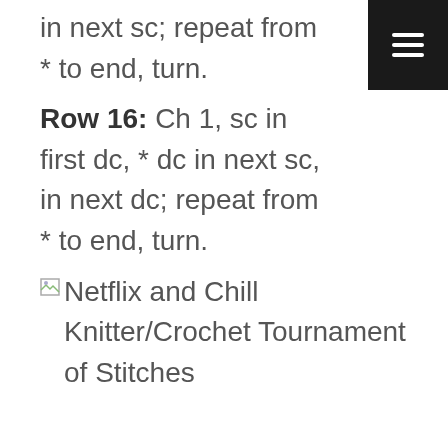in next sc; repeat from * to end, turn.
Row 16: Ch 1, sc in first dc, * dc in next sc, in next dc; repeat from * to end, turn.
[Figure (illustration): Broken image placeholder with alt text: Netflix and Chill Knitter/Crochet Tournament of Stitches]